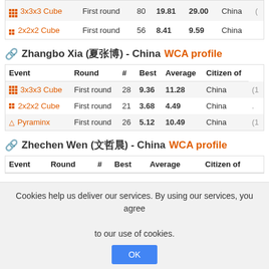| Event | Round | # | Best | Average | Citizen of |
| --- | --- | --- | --- | --- | --- |
| 3x3x3 Cube | First round | 80 | 19.81 | 29.00 | China |
| 2x2x2 Cube | First round | 56 | 8.41 | 9.59 | China |
Zhangbo Xia (夏张博) - China WCA profile
| Event | Round | # | Best | Average | Citizen of |
| --- | --- | --- | --- | --- | --- |
| 3x3x3 Cube | First round | 28 | 9.36 | 11.28 | China |
| 2x2x2 Cube | First round | 21 | 3.68 | 4.49 | China |
| Pyraminx | First round | 26 | 5.12 | 10.49 | China |
Zhechen Wen (文哲晨) - China WCA profile
| Event | Round | # | Best | Average | Citizen of |
| --- | --- | --- | --- | --- | --- |
Cookies help us deliver our services. By using our services, you agree to our use of cookies.